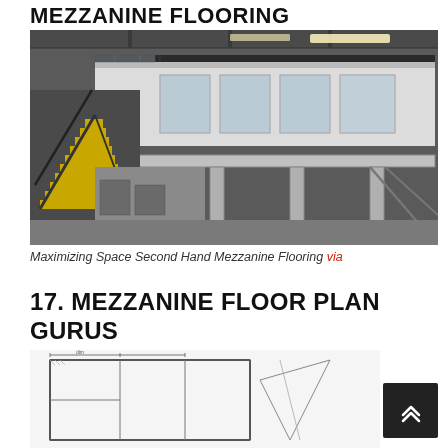MEZZANINE FLOORING
[Figure (photo): Interior photo of a mezzanine structure inside a warehouse, showing upper mezzanine floor with white walls, glass balustrades, metal railings, yellow and black staircase on the left, support columns, and warehouse ceiling with fluorescent lighting.]
Maximizing Space Second Hand Mezzanine Flooring via
17. MEZZANINE FLOOR PLAN GURUS
[Figure (engineering-diagram): Architectural floor plan drawing of a mezzanine, partially visible at the bottom of the page, showing structural layout with dimensions and lines.]